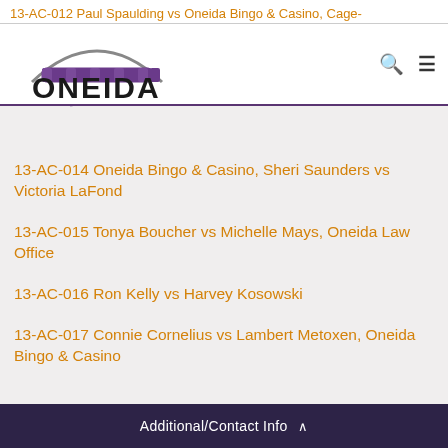13-AC-012 Paul Spaulding vs Oneida Bingo & Casino, Cage-
[Figure (logo): Oneida Nation logo with arch and beaded crown above 'ONEIDA' wordmark]
13-AC-014 Oneida Bingo & Casino, Sheri Saunders vs Victoria LaFond
13-AC-015 Tonya Boucher vs Michelle Mays, Oneida Law Office
13-AC-016 Ron Kelly vs Harvey Kosowski
13-AC-017 Connie Cornelius vs Lambert Metoxen, Oneida Bingo & Casino
Additional/Contact Info ^